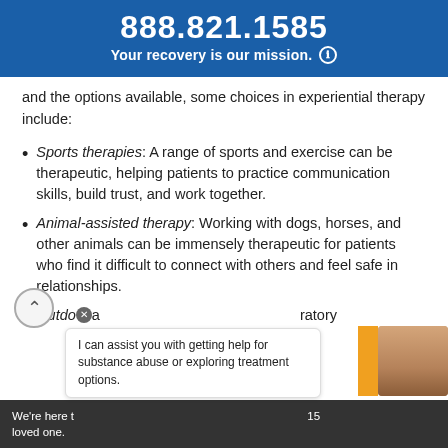888.821.1585
Your recovery is our mission.
and the options available, some choices in experiential therapy include:
Sports therapies: A range of sports and exercise can be therapeutic, helping patients to practice communication skills, build trust, and work together.
Animal-assisted therapy: Working with dogs, horses, and other animals can be immensely therapeutic for patients who find it difficult to connect with others and feel safe in relationships.
Outdo... [exploratory]
We're here t... loved one.
I can assist you with getting help for substance abuse or exploring treatment options.